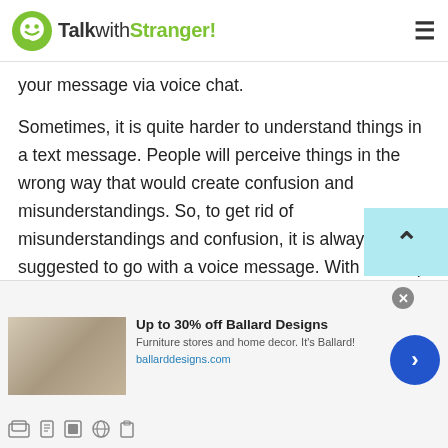TalkwithStranger!
your message via voice chat.
Sometimes, it is quite harder to understand things in a text message. People will perceive things in the wrong way that would create confusion and misunderstandings. So, to get rid of misunderstandings and confusion, it is always suggested to go with a voice message. With the help of using random voice chat, you can better convey your message. Because the other person can hear you clearly and of course, understand what you are trying to say.
[Figure (screenshot): Advertisement banner for Ballard Designs: 'Up to 30% off Ballard Designs' with furniture image, subtext 'Furniture stores and home decor. It's Ballard!', URL 'ballarddesigns.com', navigation arrow button and close button.]